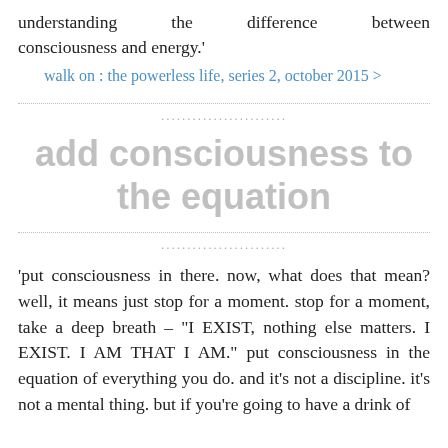understanding the difference between consciousness and energy.'
walk on : the powerless life, series 2, october 2015 >
add consciousness to the equation
'put consciousness in there. now, what does that mean? well, it means just stop for a moment. stop for a moment, take a deep breath – "I EXIST, nothing else matters. I EXIST. I AM THAT I AM." put consciousness in the equation of everything you do. and it's not a discipline. it's not a mental thing. but if you're going to have a drink of